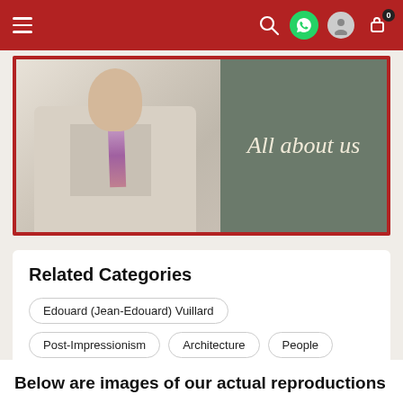Navigation bar with menu, search, WhatsApp, user account, and cart (0 items)
[Figure (photo): Banner image showing a man in a suit with a striped tie, next to text reading 'All about us' on a dark green/grey background, framed with a red border]
Related Categories
Edouard (Jean-Edouard) Vuillard
Post-Impressionism
Architecture
People
Furniture
Interiors
Women
Below are images of our actual reproductions